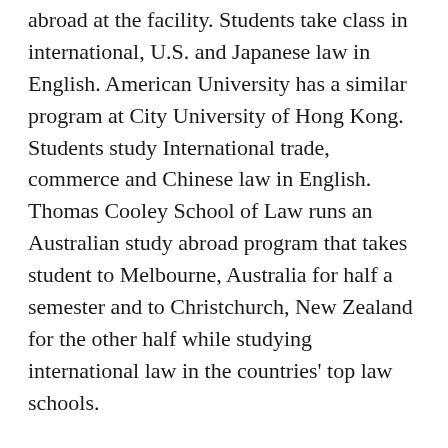abroad at the facility. Students take class in international, U.S. and Japanese law in English. American University has a similar program at City University of Hong Kong. Students study International trade, commerce and Chinese law in English. Thomas Cooley School of Law runs an Australian study abroad program that takes student to Melbourne, Australia for half a semester and to Christchurch, New Zealand for the other half while studying international law in the countries' top law schools.
Cooperative Programs
Cooperative Programs are ABA approved study at a foreign institution rather than a U.S. law school's